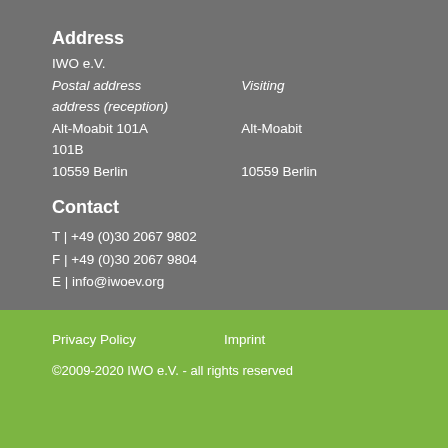Address
IWO e.V.
Postal address address (reception)    Visiting
Alt-Moabit 101A    Alt-Moabit 101B
10559 Berlin    10559 Berlin
Contact
T | +49 (0)30 2067 9802
F | +49 (0)30 2067 9804
E | info@iwoev.org
Privacy Policy    Imprint
©2009-2020 IWO e.V. - all rights reserved